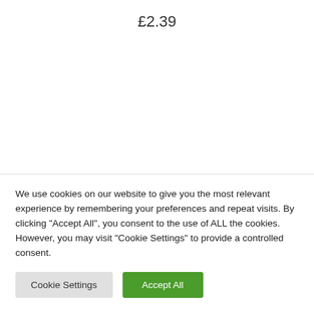£2.39
We use cookies on our website to give you the most relevant experience by remembering your preferences and repeat visits. By clicking "Accept All", you consent to the use of ALL the cookies. However, you may visit "Cookie Settings" to provide a controlled consent.
Cookie Settings
Accept All